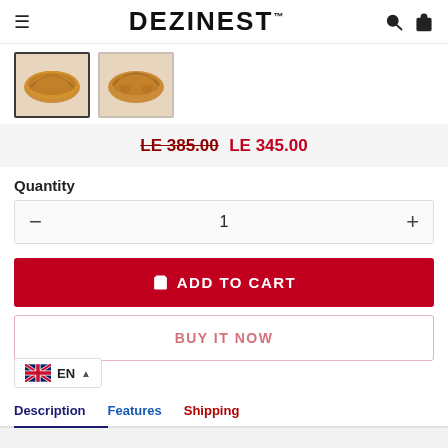DEZINEST
[Figure (photo): Two thumbnail images of wooden decorative trays on a product page. First thumbnail is selected (darker border).]
LE 385.00 LE 345.00
Quantity
1
ADD TO CART
BUY IT NOW
EN
Description
Features
Shipping